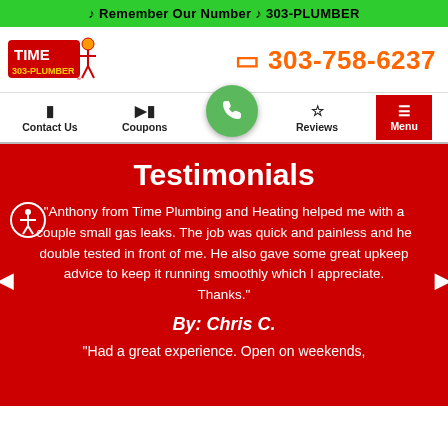♪ Remember Our Number ♪ 303-PLUMBER
[Figure (logo): Time Plumbing 303-PLUMBER logo with plumber mascot]
303-758-6237
Contact Us
Coupons
Reviews
Menu
Testimonials
"Anthony from Time Plumbing and Heating helped me with a couple small gas leaks. The job was quick and painless and he double tested in front of me. He also gave some great upkeep advice to keep it running smoothly which I appreciate. Thanks."
By: Chris C.
"Had a great experience. Open on weekends,